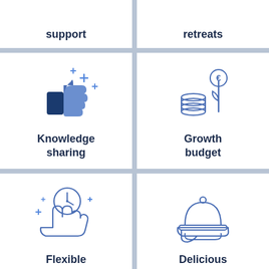[Figure (illustration): Top-left card (partial): support label at top]
support
[Figure (illustration): Top-right card (partial): retreats label at top]
retreats
[Figure (illustration): Thumbs up with sparkles icon for Knowledge sharing]
Knowledge sharing
[Figure (illustration): Coin stack with plant/euro icon for Growth budget]
Growth budget
[Figure (illustration): Clock on hand with sparkles icon for Flexible hours]
Flexible hours
[Figure (illustration): Serving cloche on hand icon for Delicious Lunches]
Delicious Lunches